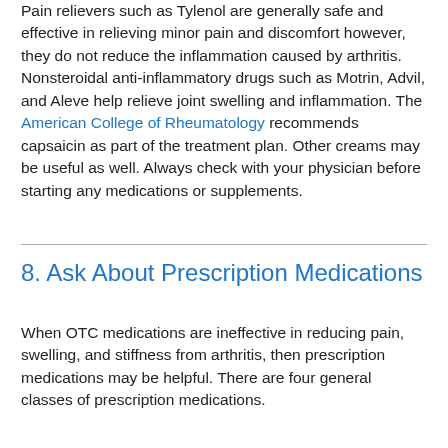Pain relievers such as Tylenol are generally safe and effective in relieving minor pain and discomfort however, they do not reduce the inflammation caused by arthritis. Nonsteroidal anti-inflammatory drugs such as Motrin, Advil, and Aleve help relieve joint swelling and inflammation. The American College of Rheumatology recommends capsaicin as part of the treatment plan. Other creams may be useful as well. Always check with your physician before starting any medications or supplements.
8. Ask About Prescription Medications
When OTC medications are ineffective in reducing pain, swelling, and stiffness from arthritis, then prescription medications may be helpful. There are four general classes of prescription medications.